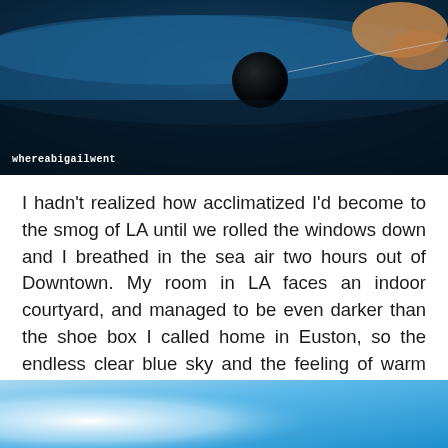[Figure (photo): Top photo showing a dark blue curved surface (possibly a car roof or similar object) with a hand/arm visible at the upper right corner. Dark background with blue tones.]
I hadn't realized how acclimatized I'd become to the smog of LA until we rolled the windows down and I breathed in the sea air two hours out of Downtown. My room in LA faces an indoor courtyard, and managed to be even darker than the shoe box I called home in Euston, so the endless clear blue sky and the feeling of warm sunshine overhead that morning basically had the same effect on me as that first glorious Spring day did in London.
[Figure (photo): Bottom photo showing a bright blue sky with white gradient, appears to be the beginning of an outdoor sky photograph.]